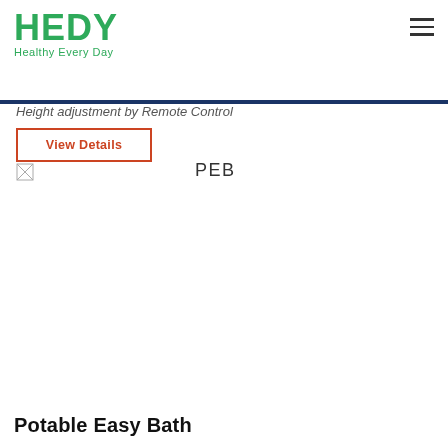HEDY Healthy Every Day
Height adjustment by Remote Control
View Details
PEB
[Figure (photo): Broken image placeholder icon (small, top-left area)]
[Figure (photo): Product image area (empty/white) with a circle indicator on the bottom right]
Potable Easy Bath